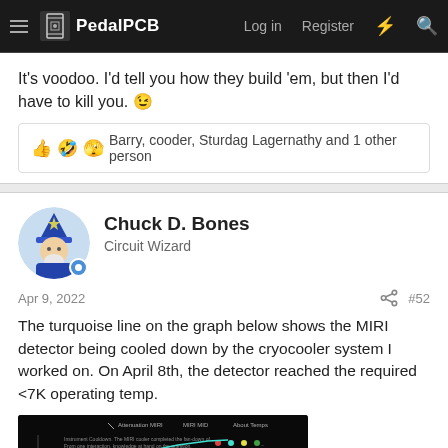PedalPCB — Log in   Register
It's voodoo. I'd tell you how they build 'em, but then I'd have to kill you. 😉
👍 🤣 🫣 Barry, cooder, Sturdag Lagernathy and 1 other person
Chuck D. Bones — Circuit Wizard
Apr 9, 2022   #52
The turquoise line on the graph below shows the MIRI detector being cooled down by the cryocooler system I worked on. On April 8th, the detector reached the required <7K operating temp.
[Figure (screenshot): Screenshot of a dark-themed instrument temperature graph showing MIRI detector cool-down data]